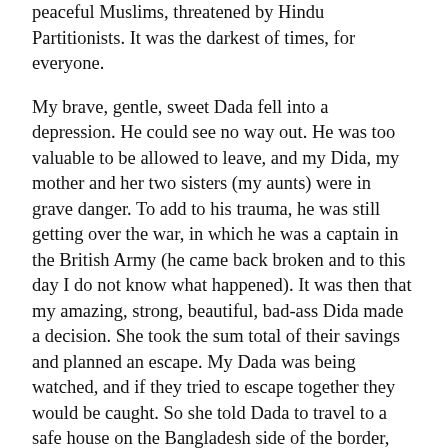peaceful Muslims, threatened by Hindu Partitionists. It was the darkest of times, for everyone.
My brave, gentle, sweet Dada fell into a depression. He could see no way out. He was too valuable to be allowed to leave, and my Dida, my mother and her two sisters (my aunts) were in grave danger. To add to his trauma, he was still getting over the war, in which he was a captain in the British Army (he came back broken and to this day I do not know what happened). It was then that my amazing, strong, beautiful, bad-ass Dida made a decision. She took the sum total of their savings and planned an escape. My Dada was being watched, and if they tried to escape together they would be caught. So she told Dada to travel to a safe house on the Bangladesh side of the border, and told her daughters that they would be leaving Bangladesh that night, to make a new home in India.  She would then return for my Dada who was mentally in a very fragile state.